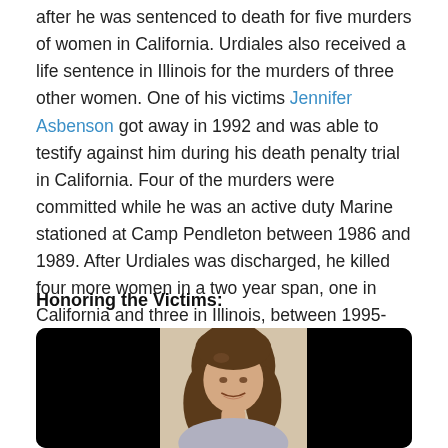after he was sentenced to death for five murders of women in California. Urdiales also received a life sentence in Illinois for the murders of three other women. One of his victims Jennifer Asbenson got away in 1992 and was able to testify against him during his death penalty trial in California. Four of the murders were committed while he was an active duty Marine stationed at Camp Pendleton between 1986 and 1989. After Urdiales was discharged, he killed four more women in a two year span, one in California and three in Illinois, between 1995-1996.
Honoring the Victims:
[Figure (photo): A photograph of a woman with brown hair shown from the shoulders up, set in a dark-framed display with black side panels.]